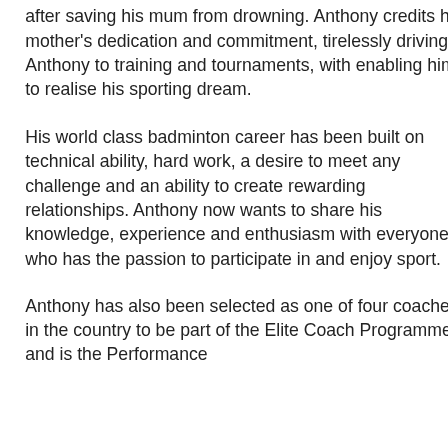after saving his mum from drowning. Anthony credits his mother's dedication and commitment, tirelessly driving Anthony to training and tournaments, with enabling him to realise his sporting dream.
His world class badminton career has been built on technical ability, hard work, a desire to meet any challenge and an ability to create rewarding relationships. Anthony now wants to share his knowledge, experience and enthusiasm with everyone who has the passion to participate in and enjoy sport.
Anthony has also been selected as one of four coaches in the country to be part of the Elite Coach Programme and is the Performance